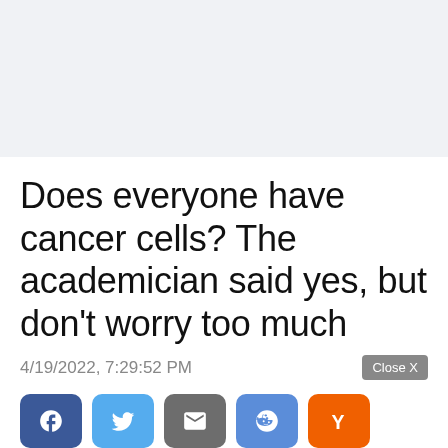Does everyone have cancer cells? The academician said yes, but don't worry too much
4/19/2022, 7:29:52 PM
[Figure (other): Social sharing buttons: Facebook, Twitter, Email, Reddit, Hacker News (Y)]